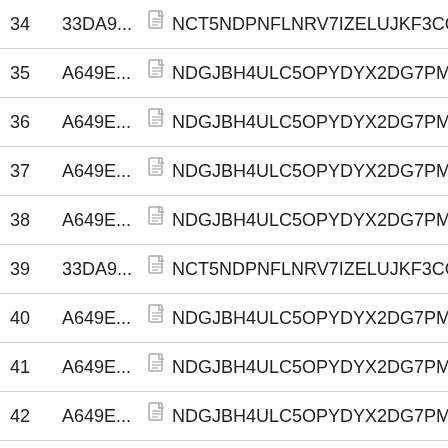| # | Hash |  | Code |
| --- | --- | --- | --- |
| 34 | 33DA9... |  | NCT5NDPNFLNRV7IZELUJKF3COSSJRUOC7M... |
| 35 | A649E... |  | NDGJBH4ULC5OPYDYX2DG7PMO53LUB5F2TQ... |
| 36 | A649E... |  | NDGJBH4ULC5OPYDYX2DG7PMO53LUB5F2TQ... |
| 37 | A649E... |  | NDGJBH4ULC5OPYDYX2DG7PMO53LUB5F2TQ... |
| 38 | A649E... |  | NDGJBH4ULC5OPYDYX2DG7PMO53LUB5F2TQ... |
| 39 | 33DA9... |  | NCT5NDPNFLNRV7IZELUJKF3COSSJRUOC7M... |
| 40 | A649E... |  | NDGJBH4ULC5OPYDYX2DG7PMO53LUB5F2TQ... |
| 41 | A649E... |  | NDGJBH4ULC5OPYDYX2DG7PMO53LUB5F2TQ... |
| 42 | A649E... |  | NDGJBH4ULC5OPYDYX2DG7PMO53LUB5F2TQ... |
| 43 | 33DA9... |  | NCT5NDPNFLNRV7IZELUJKF3COSSJRUOC7M... |